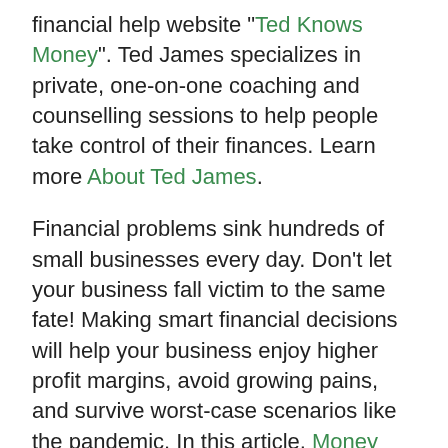financial help website "Ted Knows Money". Ted James specializes in private, one-on-one coaching and counselling sessions to help people take control of their finances. Learn more About Ted James.
Financial problems sink hundreds of small businesses every day. Don't let your business fall victim to the same fate! Making smart financial decisions will help your business enjoy higher profit margins, avoid growing pains, and survive worst-case scenarios like the pandemic. In this article, Money Solutions Online offers several actionable tips to improve the financial health of your business. We'll discuss how to be smart about your expenses, what to do about debt, where to go for help, and more!